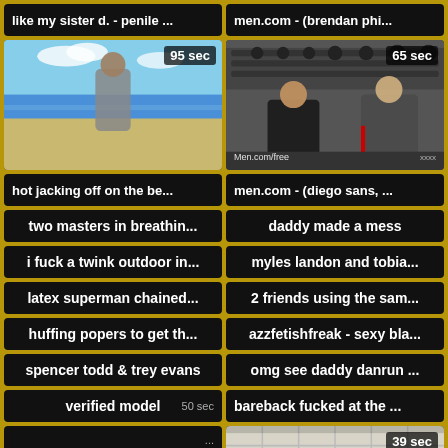like my sister d. - penile ...
men.com - (brendan phi...
[Figure (photo): Man on beach flexing, 95 sec badge]
[Figure (photo): Men in gym, 65 sec badge, Men.com/free watermark]
hot jacking off on the be...
men.com - (diego sans, ...
two masters in breathin...
daddy made a mess
i fuck a twink outdoor in...
myles landon and tobia...
latex superman chained...
2 friends using the sam...
huffing popers to get th...
azzfetishfreak - sexy bla...
spencer todd & trey evans
omg see daddy danrun ...
verified model
bareback fucked at the ...
strip totally naked and ...
[Figure (photo): Tiled floor photo, 39 sec badge]